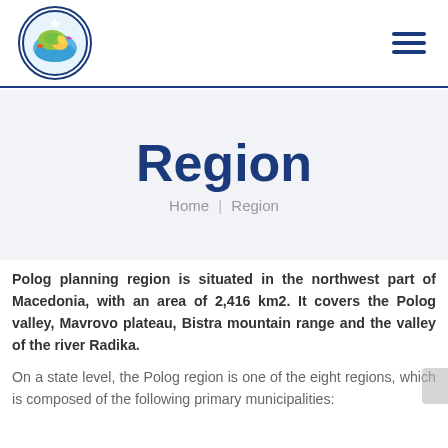[Figure (logo): Circular logo with colorful map/fish design, dark blue border, for Polog region government website]
Region
Home  |  Region
Polog planning region is situated in the northwest part of Macedonia, with an area of 2,416 km2. It covers the Polog valley, Mavrovo plateau, Bistra mountain range and the valley of the river Radika.
On a state level, the Polog region is one of the eight regions, which is composed of the following primary municipalities: